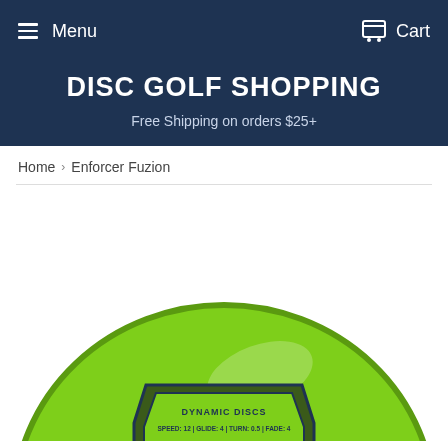Menu   Cart
DISC GOLF SHOPPING
Free Shipping on orders $25+
Home › Enforcer Fuzion
[Figure (photo): A green Dynamic Discs Enforcer Fuzion disc golf disc, shown from above at close range. The disc features the Dynamic Discs shield logo with text reading DYNAMIC DISCS, SPEED: 12, GLIDE: 4, TURN: 0.5, FADE: 4, and ENFORCER across the bottom.]